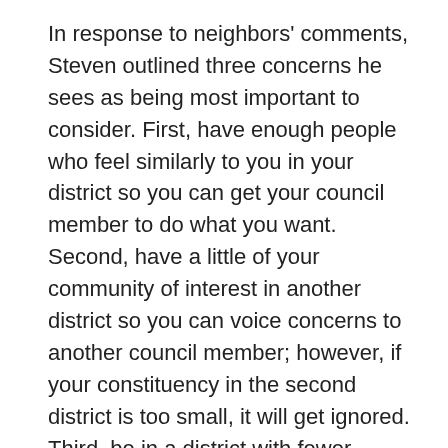In response to neighbors' comments, Steven outlined three concerns he sees as being most important to consider. First, have enough people who feel similarly to you in your district so you can get your council member to do what you want. Second, have a little of your community of interest in another district so you can voice concerns to another council member; however, if your constituency in the second district is too small, it will get ignored. Third, be in a district with fewer competing challenges that take away from what's important to you (e.g. a district that also includes parts of downtown).
Steven passed around other proposed maps that had been offered by other organizations in the city; it was questionable whether many of these maps would pass